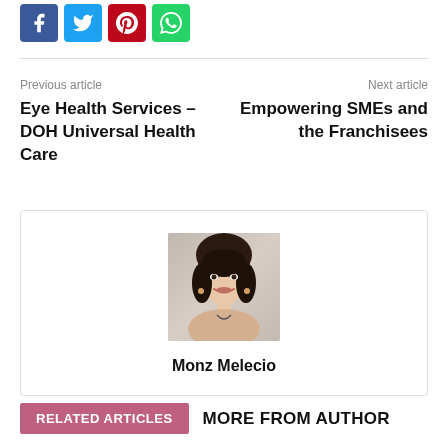[Figure (other): Social media share buttons: Facebook (blue), Twitter (light blue), Pinterest (red), WhatsApp (green)]
Previous article
Eye Health Services – DOH Universal Health Care
Next article
Empowering SMEs and the Franchisees
[Figure (photo): Portrait photo of Monz Melecio, a woman with dark hair pulled back, wearing a light-colored top, smiling at the camera]
Monz Melecio
RELATED ARTICLES
MORE FROM AUTHOR